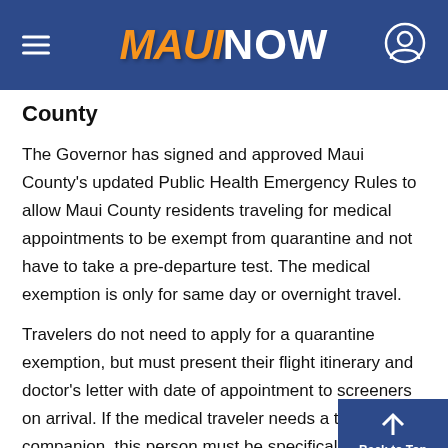MAUI NOW
County
The Governor has signed and approved Maui County's updated Public Health Emergency Rules to allow Maui County residents traveling for medical appointments to be exempt from quarantine and not have to take a pre-departure test.  The medical exemption is only for same day or overnight travel.
Travelers do not need to apply for a quarantine exemption, but must present their flight itinerary and doctor's letter with date of appointment to screeners on arrival.  If the medical traveler needs a travel companion, this person must be specifically na